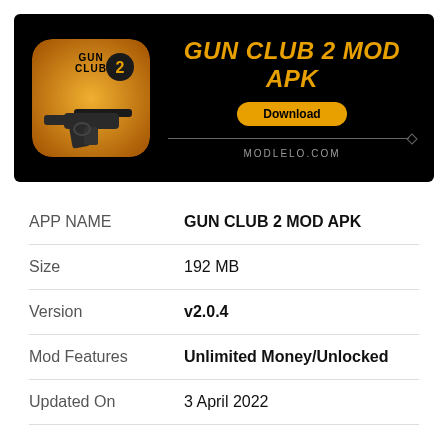[Figure (illustration): Gun Club 2 Mod APK banner on black background with app icon on left showing a gun on gold background, and text 'GUN CLUB 2 MOD APK' in large gold italic letters on right, with a Download button and modlelo.com branding below]
| APP NAME | GUN CLUB 2 MOD APK |
| Size | 192 MB |
| Version | v2.0.4 |
| Mod Features | Unlimited Money/Unlocked |
| Updated On | 3 April 2022 |